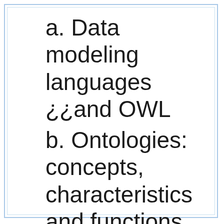a. Data modeling languages ¿¿and OWL
b. Ontologies: concepts, characteristics and functions